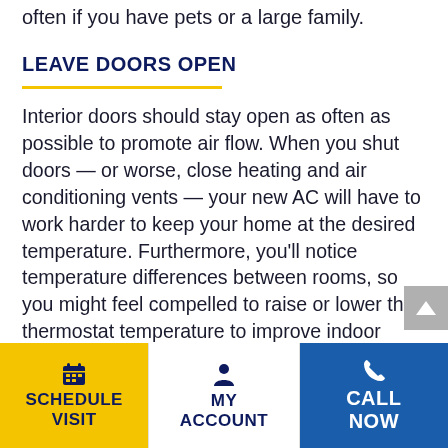often if you have pets or a large family.
LEAVE DOORS OPEN
Interior doors should stay open as often as possible to promote air flow. When you shut doors — or worse, close heating and air conditioning vents — your new AC will have to work harder to keep your home at the desired temperature. Furthermore, you'll notice temperature differences between rooms, so you might feel compelled to raise or lower the thermostat temperature to improve indoor comfort.
SCHEDULE VISIT | MY ACCOUNT | CALL NOW